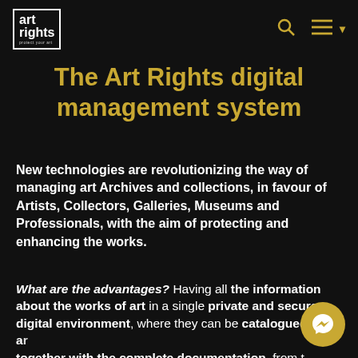art rights — protect your art [logo] [search icon] [menu icon]
The Art Rights digital management system
New technologies are revolutionizing the way of managing art Archives and collections, in favour of Artists, Collectors, Galleries, Museums and Professionals, with the aim of protecting and enhancing the works.
What are the advantages? Having all the information about the works of art in a single private and secure digital environment, where they can be catalogued and archived together with the complete documentation, from the Certificate of Authenticity, the Condition Reports, together